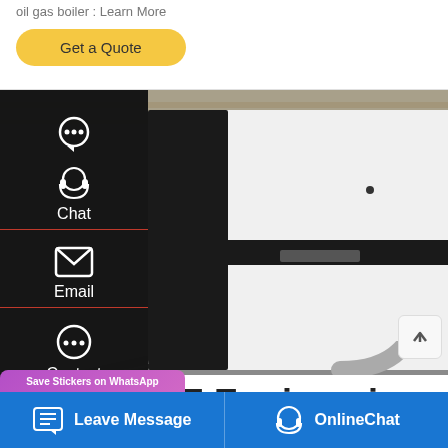oil gas boiler : Learn More
Get a Quote
[Figure (photo): Industrial oil/gas boiler equipment in a factory/warehouse setting. Large white and black industrial boiler unit visible with cylindrical tanks in background.]
Chat
Email
Contact
Save Stickers on WhatsApp
E Engineering
Leave Message
OnlineChat